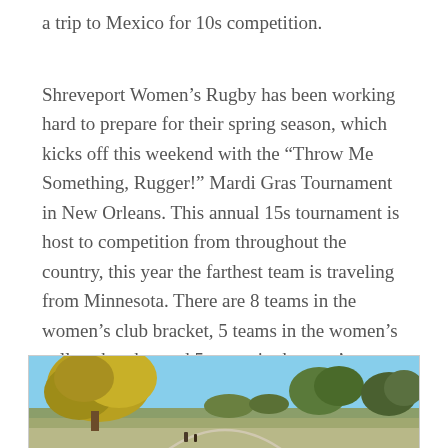a trip to Mexico for 10s competition.
Shreveport Women’s Rugby has been working hard to prepare for their spring season, which kicks off this weekend with the “Throw Me Something, Rugger!” Mardi Gras Tournament in New Orleans. This annual 15s tournament is host to competition from throughout the country, this year the farthest team is traveling from Minnesota. There are 8 teams in the women’s club bracket, 5 teams in the women’s college bracket and 5 teams in the men’s combined bracket.
[Figure (photo): Outdoor photo showing trees with yellow-green foliage against a blue sky, with a grassy field and some people visible in the background.]